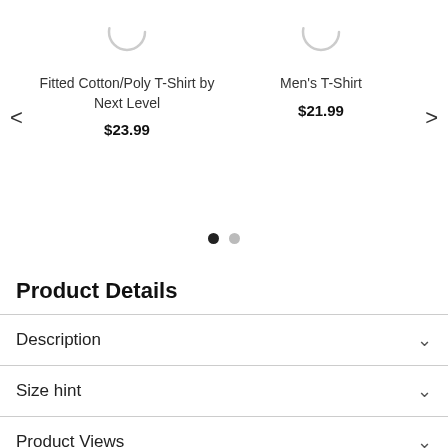[Figure (screenshot): Product carousel showing two t-shirt products with loading spinners, navigation arrows, and pagination dots]
Fitted Cotton/Poly T-Shirt by Next Level
$23.99
Men's T-Shirt
$21.99
Product Details
Description
Size hint
Product Views